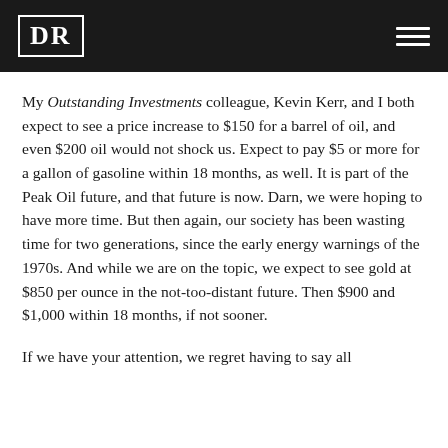DR
My Outstanding Investments colleague, Kevin Kerr, and I both expect to see a price increase to $150 for a barrel of oil, and even $200 oil would not shock us. Expect to pay $5 or more for a gallon of gasoline within 18 months, as well. It is part of the Peak Oil future, and that future is now. Darn, we were hoping to have more time. But then again, our society has been wasting time for two generations, since the early energy warnings of the 1970s. And while we are on the topic, we expect to see gold at $850 per ounce in the not-too-distant future. Then $900 and $1,000 within 18 months, if not sooner.
If we have your attention, we regret having to say all